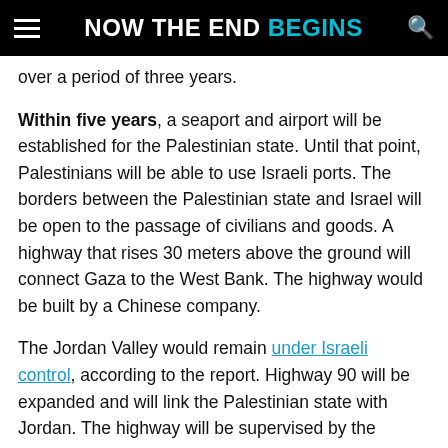NOW THE END BEGINS
over a period of three years.
Within five years, a seaport and airport will be established for the Palestinian state. Until that point, Palestinians will be able to use Israeli ports. The borders between the Palestinian state and Israel will be open to the passage of civilians and goods. A highway that rises 30 meters above the ground will connect Gaza to the West Bank. The highway would be built by a Chinese company.
The Jordan Valley would remain under Israeli control, according to the report. Highway 90 will be expanded and will link the Palestinian state with Jordan. The highway will be supervised by the Palestinians.
If Hamas and the PLO reject the deal, the United States will end all financial support they provide to the